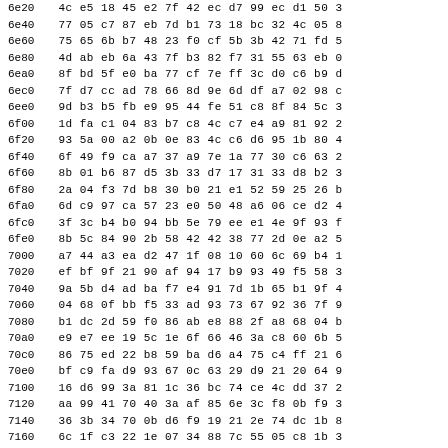| addr | hex data |
| --- | --- |
| 6e20 | 4c e5 18 45 e2 7f 42 ec d7 99 ec d1 50 3 |
| 6e40 | 77 05 c7 87 eb 7d b1 73 18 bc 32 4c 05 8 |
| 6e60 | 75 65 6b b7 48 23 f0 cf 5b 3b 42 71 fd 5 |
| 6e80 | 4d ab eb 6a 43 7f b3 82 f7 31 55 63 eb 0 |
| 6ea0 | 8f bd 5f e0 ba 77 cf 7e ff 3c d0 c6 b9 d |
| 6ec0 | 7f d7 cc ad 78 66 8d 9e 6d df a7 02 98 c |
| 6ee0 | 9d b3 b5 fb e9 95 44 fe 51 c8 8f 84 5c 3 |
| 6f00 | 1d fa c1 04 83 b7 c8 4c c7 e4 a9 81 92 2 |
| 6f20 | 93 5a 00 a2 0b 0e 83 4c c6 d6 95 1b 80 4 |
| 6f40 | 6f 49 f9 ca a7 37 a9 7e 1a 77 30 c6 63 2 |
| 6f60 | 8b 01 b6 87 d5 3b 33 d7 17 31 33 d8 b2 3 |
| 6f80 | 2a 04 f3 7d b8 30 b0 21 e1 52 59 25 26 b |
| 6fa0 | 6d c9 97 ca 57 23 e0 50 48 a6 06 ce d2 4 |
| 6fc0 | 3f 3c b4 b0 94 bb 5e 79 ee e1 4e 9f 93 f |
| 6fe0 | 8b 5c 84 90 2b 58 42 42 38 77 2d 0e a2 5 |
| 7000 | a7 44 a3 ea d2 47 1f 08 10 60 6c 69 b4 1 |
| 7020 | ef bf 9f 21 90 af 94 17 b9 93 49 f5 58 3 |
| 7040 | 9a 5b d4 ad ba f7 e4 91 7d 1b 65 b1 9f 4 |
| 7060 | 04 68 0f bb f5 33 ad 93 73 67 92 36 7f 9 |
| 7080 | b1 dc 2d 59 f0 86 ab e8 88 2f a8 68 04 b |
| 70a0 | e9 e7 ee 19 5c 1e 6f 66 46 3a c8 60 6b 5 |
| 70c0 | 86 75 ed 22 b8 59 ba d6 a4 75 c4 ff 21 6 |
| 70e0 | bf c9 fa d9 93 67 0c 63 29 d9 21 20 64 9 |
| 7100 | 16 d6 99 3a 81 1c 36 bc 74 ce 4c dd 37 2 |
| 7120 | aa 99 41 70 40 3a af 85 6e 3c f8 0b f9 3 |
| 7140 | 36 3b 34 70 0b d6 f9 19 21 2e 74 dc 1b 8 |
| 7160 | 6c 1f c3 22 1e 07 34 88 7c 55 05 c8 1b 3 |
| 7180 | b2 24 66 f3 5e a4 3d 99 0c 4a 1b 28 69 d |
| 71a0 | 2f 58 6e d0 dc ed 74 70 24 3c 37 2b 77 3 |
| 71c0 | 7a a9 27 35 4d 30 23 2a 03 ed d9 58 46 7 |